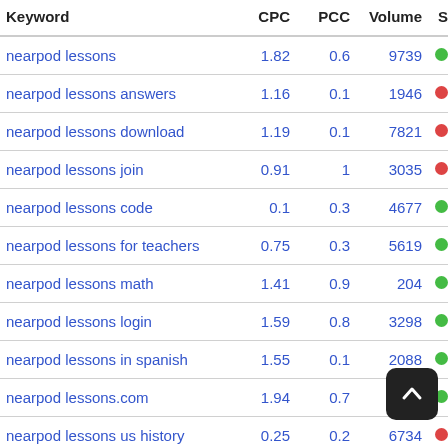| Keyword | CPC | PCC | Volume | S |
| --- | --- | --- | --- | --- |
| nearpod lessons | 1.82 | 0.6 | 9739 | green |
| nearpod lessons answers | 1.16 | 0.1 | 1946 | red |
| nearpod lessons download | 1.19 | 0.1 | 7821 | red |
| nearpod lessons join | 0.91 | 1 | 3035 | red |
| nearpod lessons code | 0.1 | 0.3 | 4677 | green |
| nearpod lessons for teachers | 0.75 | 0.3 | 5619 | green |
| nearpod lessons math | 1.41 | 0.9 | 204 | green |
| nearpod lessons login | 1.59 | 0.8 | 3298 | green |
| nearpod lessons in spanish | 1.55 | 0.1 | 2088 | green |
| nearpod lessons.com | 1.94 | 0.7 | 386 | green |
| nearpod lessons us history | 0.25 | 0.2 | 6734 | red |